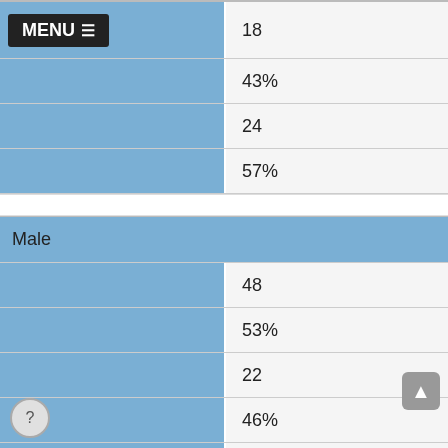|  | Value |
| --- | --- |
| MENU ≡ | 18 |
|  | 43% |
|  | 24 |
|  | 57% |
| Male |  |
| --- | --- |
|  | 48 |
|  | 53% |
|  | 22 |
|  | 46% |
|  | 26 |
|  | 54% |